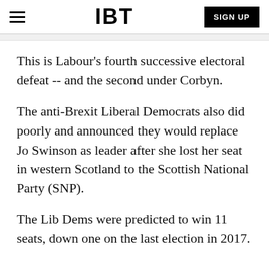IBT  SIGN UP
This is Labour's fourth successive electoral defeat -- and the second under Corbyn.
The anti-Brexit Liberal Democrats also did poorly and announced they would replace Jo Swinson as leader after she lost her seat in western Scotland to the Scottish National Party (SNP).
The Lib Dems were predicted to win 11 seats, down one on the last election in 2017.